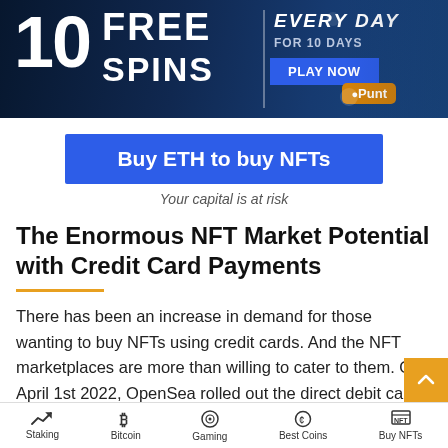[Figure (photo): Casino advertisement banner showing '10 FREE SPINS EVERY DAY FOR 10 DAYS PLAY NOW' with Punt logo and a sports person on the right against a dark blue background.]
[Figure (other): Blue button reading 'Buy ETH to buy NFTs']
Your capital is at risk
The Enormous NFT Market Potential with Credit Card Payments
There has been an increase in demand for those wanting to buy NFTs using credit cards. And the NFT marketplaces are more than willing to cater to them. On April 1st 2022, OpenSea rolled out the direct debit card payments on the platform via Moonpay, the same company Mastercard has partnered with.
Staking | Bitcoin | Gaming | Best Coins | Buy NFTs